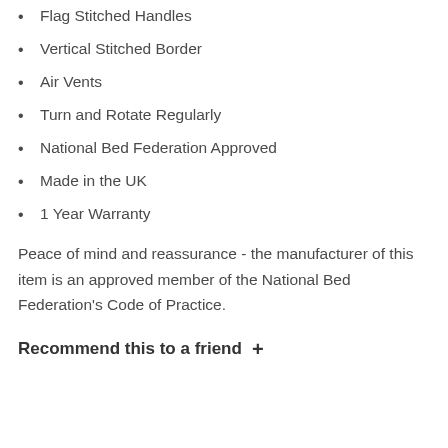Flag Stitched Handles
Vertical Stitched Border
Air Vents
Turn and Rotate Regularly
National Bed Federation Approved
Made in the UK
1 Year Warranty
Peace of mind and reassurance - the manufacturer of this item is an approved member of the National Bed Federation's Code of Practice.
Recommend this to a friend  +